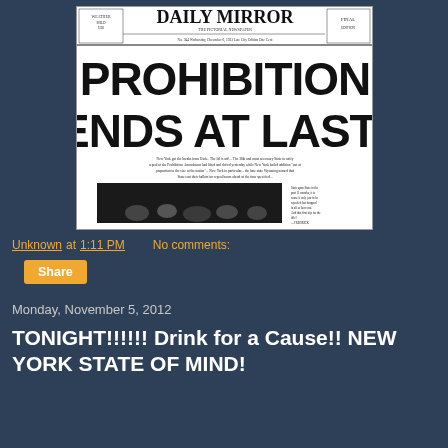[Figure (photo): Newspaper front page of the Daily Mirror with headline 'PROHIBITION ENDS AT LAST!' with subtext and a photograph of a crowd scene]
Unknown at 1:11 PM    No comments:
Share
Monday, November 5, 2012
TONIGHT!!!!!! Drink for a Cause!! NEW YORK STATE OF MIND!